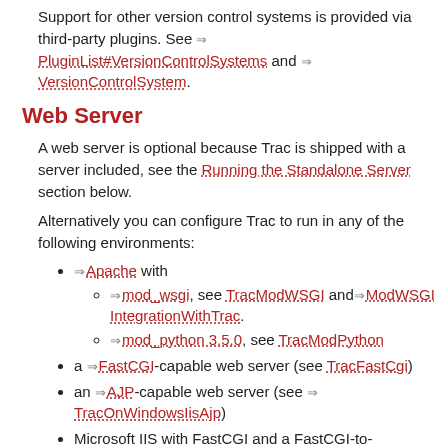Support for other version control systems is provided via third-party plugins. See PluginList#VersionControlSystems and VersionControlSystem.
Web Server
A web server is optional because Trac is shipped with a server included, see the Running the Standalone Server section below.
Alternatively you can configure Trac to run in any of the following environments:
Apache with
  - mod_wsgi, see TracModWSGI and ModWSGI IntegrationWithTrac.
  - mod_python 3.5.0, see TracModPython
a FastCGI-capable web server (see TracFastCgi)
an AJP-capable web server (see TracOnWindowsIisAjp)
Microsoft IIS with FastCGI and a FastCGI-to-WSGI bridge (see IIS with FastCGI)